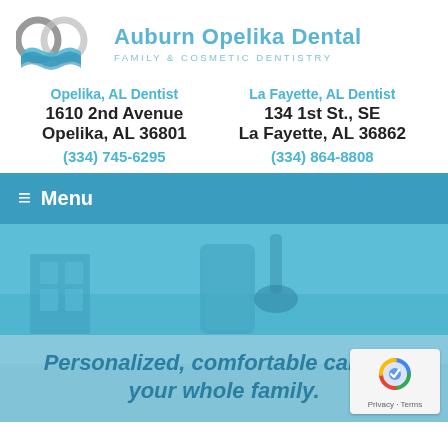[Figure (logo): Auburn Opelika Dental logo with two interlocking circles and blue wave, with text 'Auburn Opelika Dental' and 'FAMILY & COSMETIC DENTISTRY']
Opelika, AL Dentist
1610 2nd Avenue
Opelika, AL 36801
(334) 745-6295
La Fayette, AL Dentist
134 1st St., SE
La Fayette, AL 36862
(334) 864-8808
≡ Menu
[Figure (photo): Interior of dental office with chairs and equipment, shown as a blue-tinted background]
Personalized, comfortable care for your whole family.